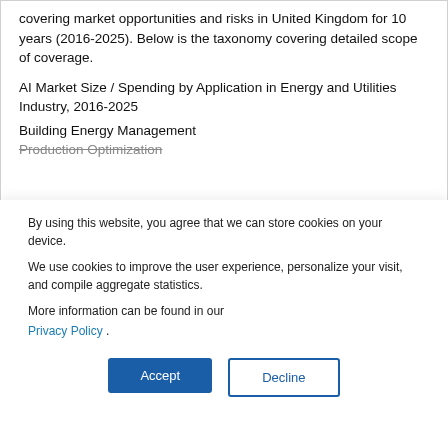This research report provides in-depth analysis, covering market opportunities and risks in United Kingdom for 10 years (2016-2025). Below is the taxonomy covering detailed scope of coverage.
AI Market Size / Spending by Application in Energy and Utilities Industry, 2016-2025
Building Energy Management
Production Optimization
By using this website, you agree that we can store cookies on your device.
We use cookies to improve the user experience, personalize your visit, and compile aggregate statistics.
More information can be found in our Privacy Policy .
Accept
Decline